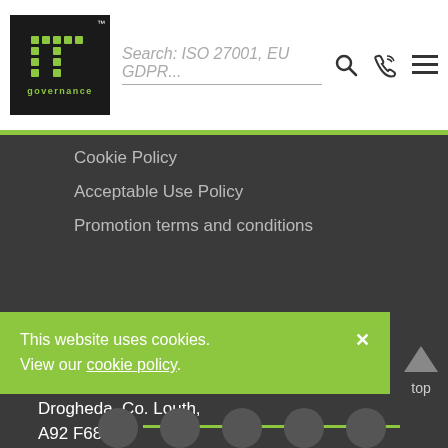[Figure (logo): IT Governance logo — dark square with green dot-matrix 'IT' letters and 'governance' text below]
Search: ISO 27001, EU GDPR...
Cookie Policy
Acceptable Use Policy
Promotion terms and conditions
IT Governance Europe Ltd
Third Floor, The Boyne Tower,
Bull Ring, Lagavooren,
Drogheda, Co. Louth,
A92 F682
This website uses cookies. View our cookie policy